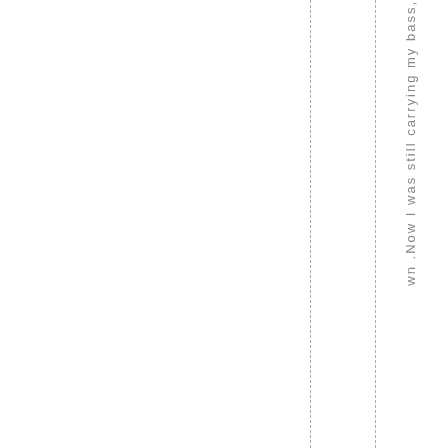wn .Now I was still carrying my bass,